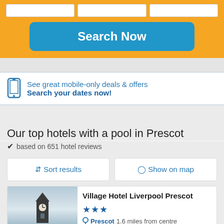[Figure (screenshot): Yellow search bar area with three white input boxes and a blue 'Search Now' button]
See great mobile-only deals & offers
Search your dates now!
Our top hotels with a pool in Prescot
✔ based on 651 hotel reviews
↕ Sort results
⊙ Show on map
Village Hotel Liverpool Prescot ★★★
Prescot  1.6 miles from centre